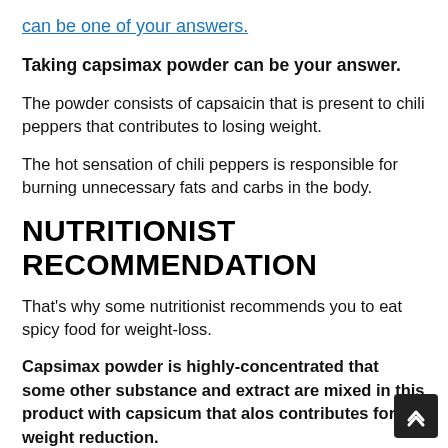can be one of your answers.
Taking capsimax powder can be your answer.
The powder consists of capsaicin that is present to chili peppers that contributes to losing weight.
The hot sensation of chili peppers is responsible for burning unnecessary fats and carbs in the body.
NUTRITIONIST RECOMMENDATION
That's why some nutritionist recommends you to eat spicy food for weight-loss.
Capsimax powder is highly-concentrated that some other substance and extract are mixed in this product with capsicum that alos contributes for weight reduction.